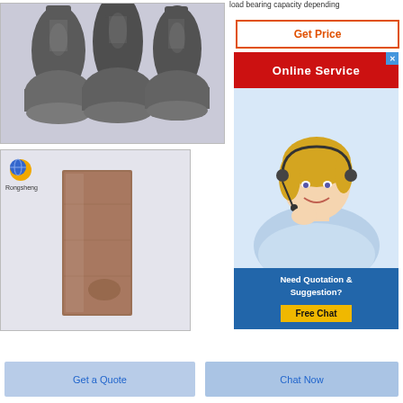load bearing capacity depending
[Figure (photo): Three glass flask-shaped containers filled with dark gray powder/granules against a light gray background]
[Figure (photo): A rectangular brown/rust-colored refractory brick or material sample with Rongsheng logo in top left corner]
[Figure (screenshot): Online Service banner with red background and white text, with a customer service representative (blonde woman with headset) below it, and a Need Quotation & Suggestion? section with Free Chat button]
Get Price
Online Service
Need Quotation & Suggestion?
Free Chat
Get a Quote
Chat Now